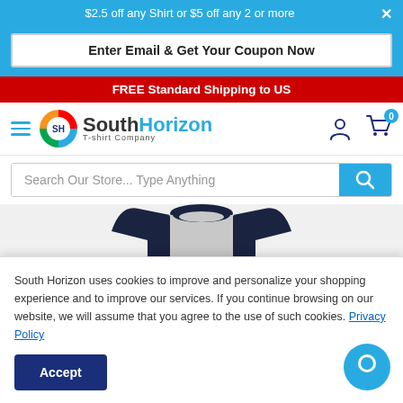$2.5 off any Shirt or $5 off any 2 or more
Enter Email & Get Your Coupon Now
FREE Standard Shipping to US
[Figure (logo): SouthHorizon T-shirt Company logo with colorful circular emblem]
[Figure (screenshot): Search bar with placeholder text: Search Our Store... Type Anything]
[Figure (photo): Top portion of a navy and grey baseball-style raglan t-shirt with Jacob printed on it]
South Horizon uses cookies to improve and personalize your shopping experience and to improve our services. If you continue browsing on our website, we will assume that you agree to the use of such cookies. Privacy Policy
Accept